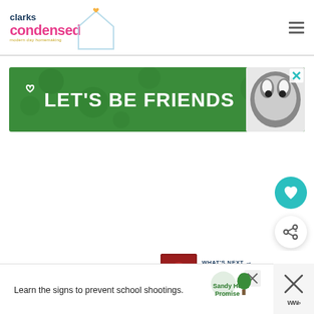[Figure (logo): Clarks Condensed logo with house illustration and tagline 'modern day homemaking']
[Figure (screenshot): Hamburger menu icon (three horizontal lines) in top right corner]
[Figure (photo): Green advertisement banner saying 'LET'S BE FRIENDS' with a husky dog photo and heart icon, with an X close button]
[Figure (screenshot): Teal circular heart button (favorite/save)]
[Figure (screenshot): White circular share button with share icon]
WHAT'S NEXT →
30+ Memorable...
[Figure (photo): Thumbnail image for 'What's Next' article showing a red background image]
[Figure (screenshot): Pink scroll-to-top button with up arrow]
[Figure (screenshot): Bottom advertisement banner: 'Learn the signs to prevent school shootings.' with Sandy Hook Promise tree logo]
[Figure (screenshot): Bottom right close X button and WW (Weight Watchers) logo area]